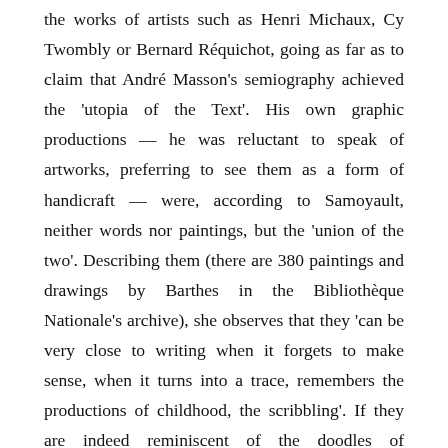the works of artists such as Henri Michaux, Cy Twombly or Bernard Réquichot, going as far as to claim that André Masson's semiography achieved the 'utopia of the Text'. His own graphic productions — he was reluctant to speak of artworks, preferring to see them as a form of handicraft — were, according to Samoyault, neither words nor paintings, but the 'union of the two'. Describing them (there are 380 paintings and drawings by Barthes in the Bibliothèque Nationale's archive), she observes that they 'can be very close to writing when it forgets to make sense, when it turns into a trace, remembers the productions of childhood, the scribbling'. If they are indeed reminiscent of the doodles of yesteryear, they are also — perhaps more importantly — post-verbal. She explains that they allow us to enter a world free from 'any formed language, any preconstructed thought' – a world 'exempt from meaning',